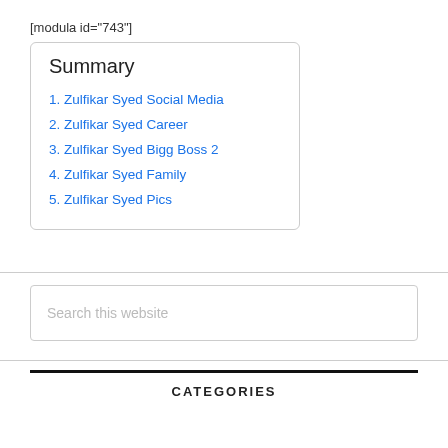[modula id="743"]
Summary
1. Zulfikar Syed Social Media
2. Zulfikar Syed Career
3. Zulfikar Syed Bigg Boss 2
4. Zulfikar Syed Family
5. Zulfikar Syed Pics
Search this website
CATEGORIES